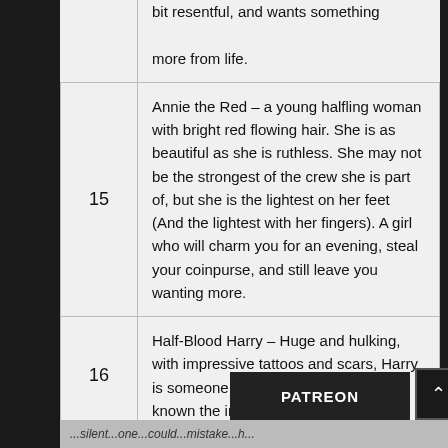| # | Description |
| --- | --- |
|  | bit resentful, and wants something more from life. |
| 15 | Annie the Red – a young halfling woman with bright red flowing hair. She is as beautiful as she is ruthless. She may not be the strongest of the crew she is part of, but she is the lightest on her feet (And the lightest with her fingers). A girl who will charm you for an evening, steal your coinpurse, and still leave you wanting more. |
| 16 | Half-Blood Harry – Huge and hulking, with impressive tattoos and scars, Harry is someone who makes himself known the instant he enters a room. |